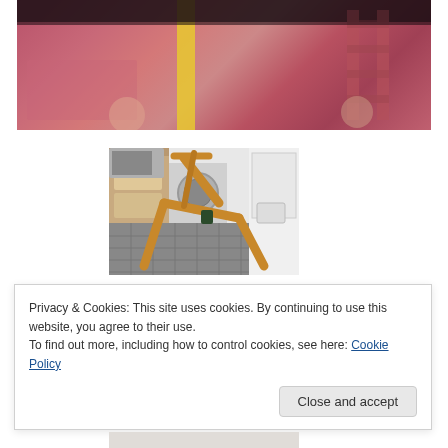[Figure (photo): A colorful mural or painting with pink and red tones, a yellow vertical stripe, and illustrated figures visible at bottom]
[Figure (photo): A wooden folding deck chair tipped on its side in a kitchen with gray tile floor, washing machine, microwave, and white appliances visible]
Privacy & Cookies: This site uses cookies. By continuing to use this website, you agree to their use.
To find out more, including how to control cookies, see here: Cookie Policy
[Figure (photo): Partially visible bottom image, appears to show people in white clothing]